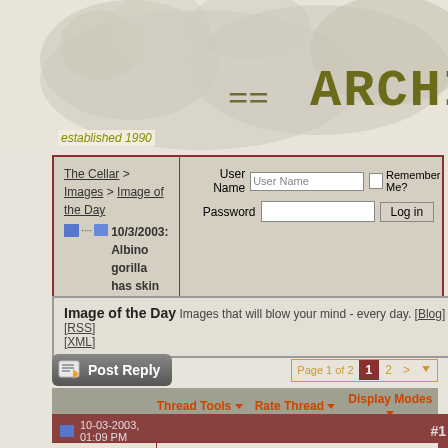[Figure (illustration): Website banner with fuzzy animal silhouette and 'ARCHIVI' text in olive/dark yellow serif font on beige background, with '==' symbols]
established 1990
| The Cellar > Images > Image of the Day [folder icon] 10/3/2003: Albino gorilla has skin cancer | User Name [input] Remember Me? Password [input] Log in |
FAQ  Community  Calendar  Today's Posts  Search
Image of the Day Images that will blow your mind - every day. [Blog] [RSS] [XML]
Post Reply   Page 1 of 2  1  2  >
Thread Tools  Rate Thread  Display Modes
10-03-2003, 01:09 PM   #1
Undertoad   10/3/2003: Albino gorilla has skin cancer